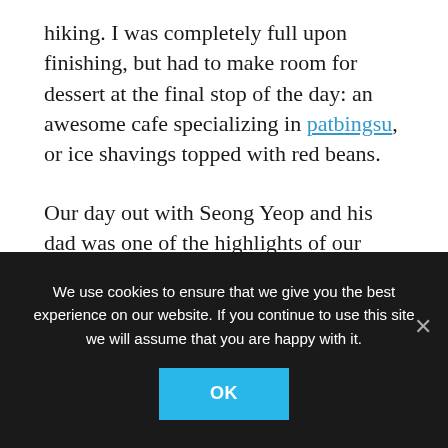hiking. I was completely full upon finishing, but had to make room for dessert at the final stop of the day: an awesome cafe specializing in patbingsu, or ice shavings topped with red beans.
Our day out with Seong Yeop and his dad was one of the highlights of our entire three months in Busan. I guess you haven't gone hiking in Korea until you've gone hiking with Koreans! We had a blast, and it's a perfect final memory from our time in the city. Thanks guys!
We use cookies to ensure that we give you the best experience on our website. If you continue to use this site we will assume that you are happy with it.